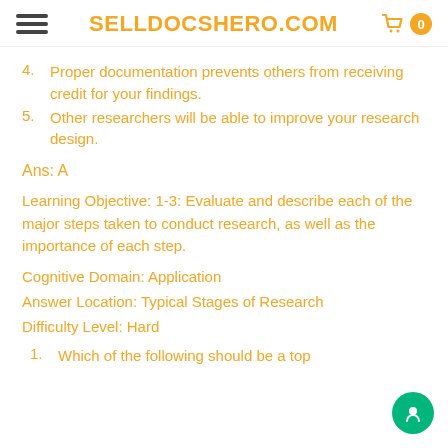SELLDOCSHERO.COM
4. Proper documentation prevents others from receiving credit for your findings.
5. Other researchers will be able to improve your research design.
Ans: A
Learning Objective: 1-3: Evaluate and describe each of the major steps taken to conduct research, as well as the importance of each step.
Cognitive Domain: Application
Answer Location: Typical Stages of Research
Difficulty Level: Hard
1. Which of the following should be a top